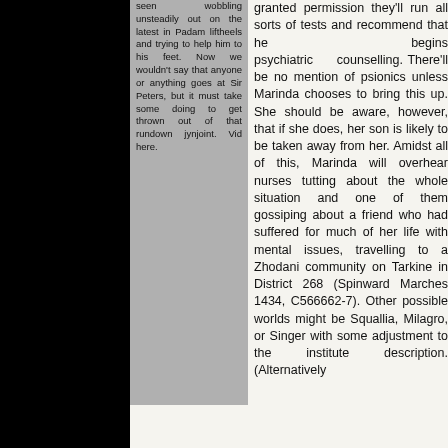seen wobbling unsteadily out on the latest in Padam liftheels and trying to help him to his feet. Now we wouldn't say that anyone or anything goes at Sir Peters, but it must take some doing to get thrown out of that rundown jynjoint. Vid here.
granted permission they'll run all sorts of tests and recommend that he begins psychiatric counselling. There'll be no mention of psionics unless Marinda chooses to bring this up. She should be aware, however, that if she does, her son is likely to be taken away from her. Amidst all of this, Marinda will overhear nurses tutting about the whole situation and one of them gossiping about a friend who had suffered for much of her life with mental issues, travelling to a Zhodani community on Tarkine in District 268 (Spinward Marches 1434, C566662-7). Other possible worlds might be Squallia, Milagro, or Singer with some adjustment to the institute description. (Alternatively